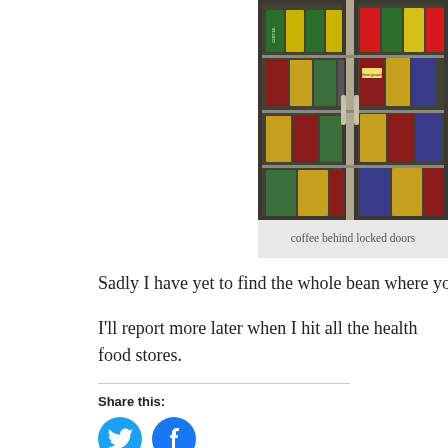[Figure (photo): Refrigerator case with glass doors showing shelves stocked with coffee products including Stoneground and other brands]
coffee behind locked doors
Sadly I have yet to find the whole bean where you can grind it u
I'll report more later when I hit all the health food stores.
Share this:
[Figure (logo): Twitter and Facebook share buttons as blue circles with white icons]
This entry was posted in Uncategorized and tagged coffee, corn, grocery stor. Bookmark the permalink.
← The advice I ignored, and how I'm paying for it